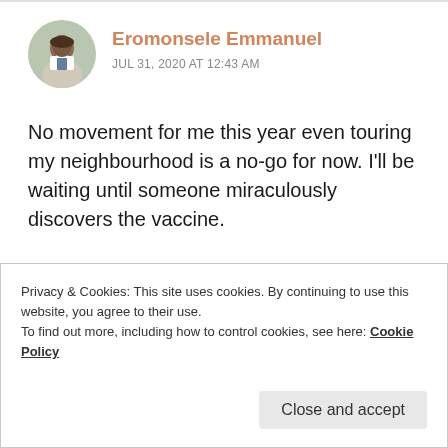Eromonsele Emmanuel
JUL 31, 2020 AT 12:43 AM
No movement for me this year even touring my neighbourhood is a no-go for now. I'll be waiting until someone miraculously discovers the vaccine.
Like
REPLY
Privacy & Cookies: This site uses cookies. By continuing to use this website, you agree to their use.
To find out more, including how to control cookies, see here: Cookie Policy
Close and accept